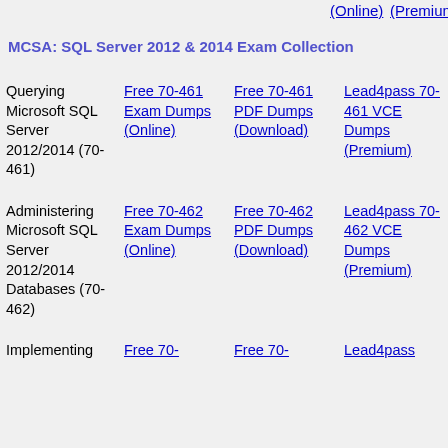(Online)
(Premium)
MCSA: SQL Server 2012 & 2014 Exam Collection
| Course | Online Dumps | PDF Dumps | VCE Dumps |
| --- | --- | --- | --- |
| Querying Microsoft SQL Server 2012/2014 (70-461) | Free 70-461 Exam Dumps (Online) | Free 70-461 PDF Dumps (Download) | Lead4pass 70-461 VCE Dumps (Premium) |
| Administering Microsoft SQL Server 2012/2014 Databases (70-462) | Free 70-462 Exam Dumps (Online) | Free 70-462 PDF Dumps (Download) | Lead4pass 70-462 VCE Dumps (Premium) |
| Implementing | Free 70- | Free 70- | Lead4pass |